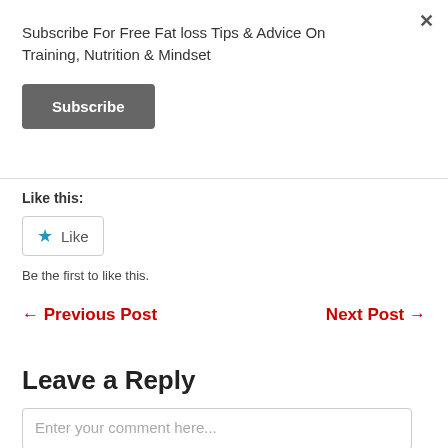Subscribe For Free Fat loss Tips & Advice On Training, Nutrition & Mindset
Subscribe
Like this:
Like
Be the first to like this.
← Previous Post
Next Post →
Leave a Reply
Enter your comment here...